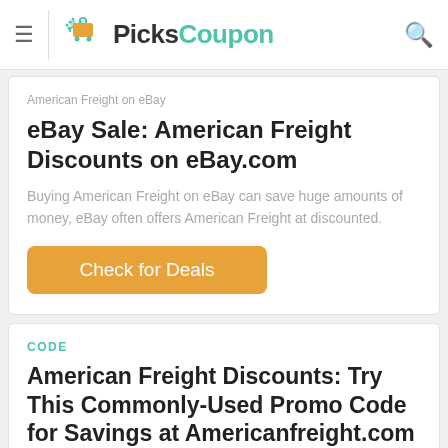PicksCoupon
American Freight on eBay
eBay Sale: American Freight Discounts on eBay.com
Buying American Freight on eBay can save huge amounts of money, eBay often offers American Freight at discounted.
Check for Deals
CODE
American Freight Discounts: Try This Commonly-Used Promo Code for Savings at Americanfreight.com